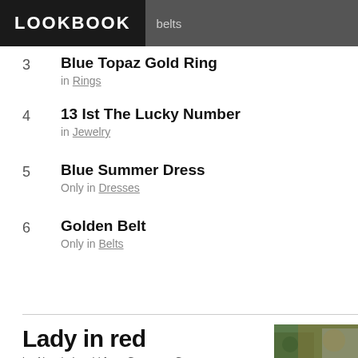LOOKBOOK   belts
3  Blue Topaz Gold Ring
in Rings
4  13 Ist The Lucky Number
in Jewelry
5  Blue Summer Dress
Only in Dresses
6  Golden Belt
Only in Belts
Lady in red
by Alessia L., girl from Germany, Germ…
20 days ago · 1 comments